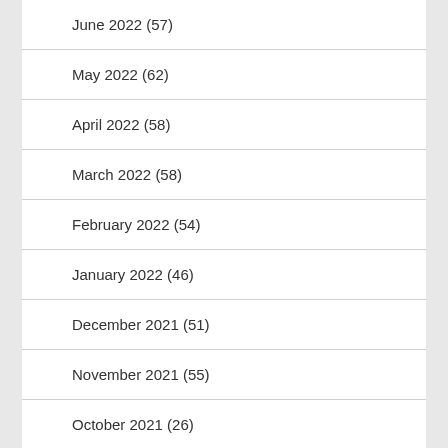June 2022 (57)
May 2022 (62)
April 2022 (58)
March 2022 (58)
February 2022 (54)
January 2022 (46)
December 2021 (51)
November 2021 (55)
October 2021 (26)